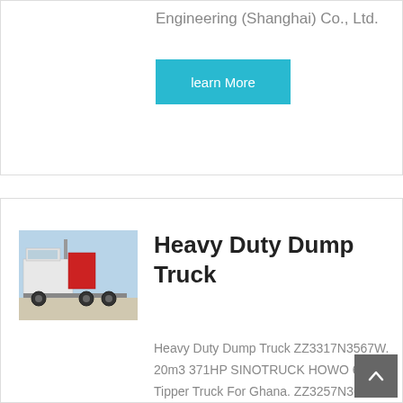Engineering (Shanghai) Co., Ltd.
learn More
[Figure (photo): White heavy duty dump truck / tractor unit photographed outdoors]
Heavy Duty Dump Truck
Heavy Duty Dump Truck ZZ3317N3567W. 20m3 371HP SINOTRUCK HOWO 6x4 Tipper Truck For Ghana. ZZ3257N3647A. 12 Wheel SINOTRUK HOWO 8x4 Dump Truck For Mauritania. ZZ3317N3567W. 25 Tons SINOTRUCK HOWO 6x4 Dump Truck For South Sudan.